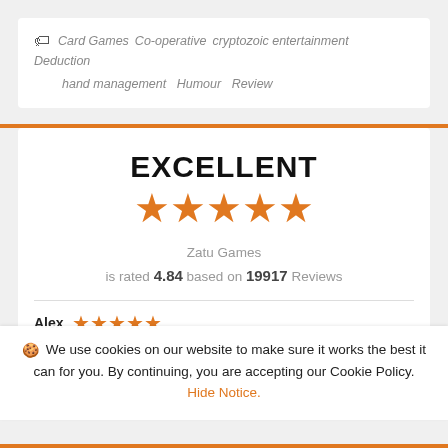Card Games  Co-operative  cryptozoic entertainment  Deduction  hand management  Humour  Review
EXCELLENT
[Figure (other): 5 orange stars rating display]
Zatu Games is rated 4.84 based on 19917 Reviews
Alex ★★★★★
Fantastic selection, great way to discover new games...
We use cookies on our website to make sure it works the best it can for you. By continuing, you are accepting our Cookie Policy. Hide Notice.